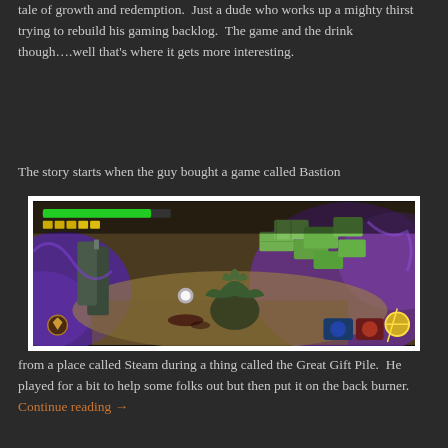tale of growth and redemption.  Just a dude who works up a mighty thirst trying to rebuild his gaming backlog.  The game and the drink though….well that's where it gets more interesting.
The story starts when the guy bought a game called Bastion
[Figure (screenshot): Screenshot from the video game Bastion, showing an isometric view with a character fighting a creature. Green health bar and HUD visible at top. Colorful environment with green block platforms, purple mist, and various enemies.]
from a place called Steam during a thing called the Great Gift Pile.  He played for a bit to help some folks out but then put it on the back burner.  Continue reading →